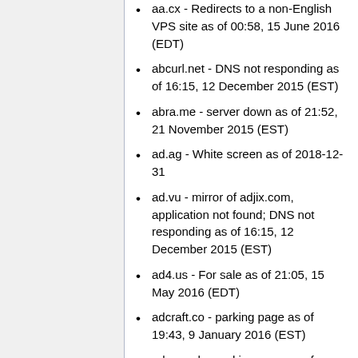aa.cx - Redirects to a non-English VPS site as of 00:58, 15 June 2016 (EDT)
abcurl.net - DNS not responding as of 16:15, 12 December 2015 (EST)
abra.me - server down as of 21:52, 21 November 2015 (EST)
ad.ag - White screen as of 2018-12-31
ad.vu - mirror of adjix.com, application not found; DNS not responding as of 16:15, 12 December 2015 (EST)
ad4.us - For sale as of 21:05, 15 May 2016 (EDT)
adcraft.co - parking page as of 19:43, 9 January 2016 (EST)
adcrun.ch - parking page as of 18:06, 12 December 2015 (EST)
adfro.gs - DNS not responding as of